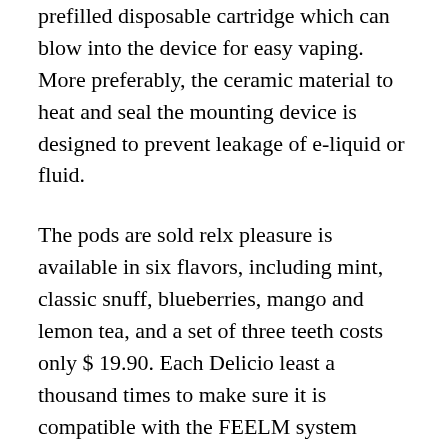prefilled disposable cartridge which can blow into the device for easy vaping. More preferably, the ceramic material to heat and seal the mounting device is designed to prevent leakage of e-liquid or fluid.
The pods are sold relx pleasure is available in six flavors, including mint, classic snuff, blueberries, mango and lemon tea, and a set of three teeth costs only $19.90. Each Delicio least a thousand times to make sure it is compatible with the FEELM system because we wanted to give customers a smooth feel and relaxed.
Even better, they are made with a nicotine salt. This is slightly more stable than nicotine free, and therefore softer in the throat base, which was tolerated even at very high concentrations up to 50 mg thinking. Most vapers find that fact with salt nicotine airistech nokiva show new the most authentic and satisfying